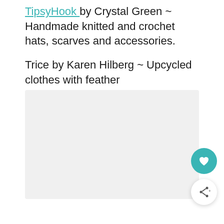TipsyHook by Crystal Green ~ Handmade knitted and crochet hats, scarves and accessories.
Trice by Karen Hilberg ~ Upcycled clothes with feather embellishments
[Figure (photo): Large image placeholder area with light grey background]